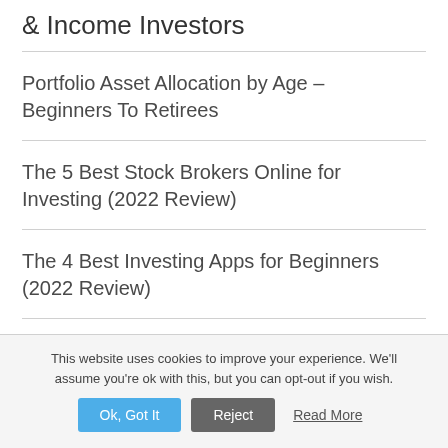& Income Investors
Portfolio Asset Allocation by Age – Beginners To Retirees
The 5 Best Stock Brokers Online for Investing (2022 Review)
The 4 Best Investing Apps for Beginners (2022 Review)
This website uses cookies to improve your experience. We'll assume you're ok with this, but you can opt-out if you wish.